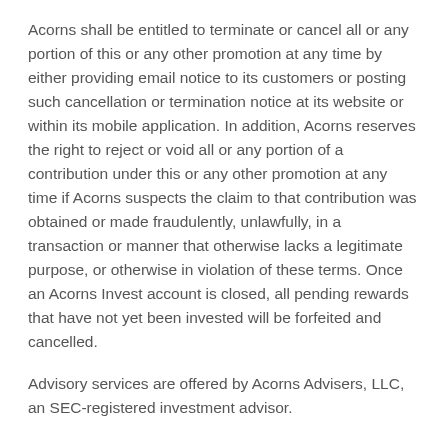Acorns shall be entitled to terminate or cancel all or any portion of this or any other promotion at any time by either providing email notice to its customers or posting such cancellation or termination notice at its website or within its mobile application. In addition, Acorns reserves the right to reject or void all or any portion of a contribution under this or any other promotion at any time if Acorns suspects the claim to that contribution was obtained or made fraudulently, unlawfully, in a transaction or manner that otherwise lacks a legitimate purpose, or otherwise in violation of these terms. Once an Acorns Invest account is closed, all pending rewards that have not yet been invested will be forfeited and cancelled.
Advisory services are offered by Acorns Advisers, LLC, an SEC-registered investment advisor.